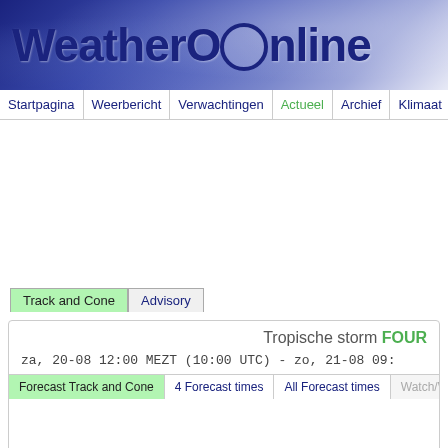WeatherOnline
Startpagina | Weerbericht | Verwachtingen | Actueel | Archief | Klimaat | Weer
Track and Cone | Advisory
Tropische storm FOUR
za, 20-08 12:00 MEZT (10:00 UTC) - zo, 21-08 09:
Forecast Track and Cone | 4 Forecast times | All Forecast times | Watch/Warn